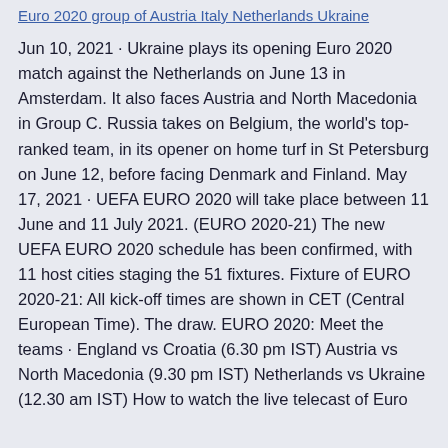Euro 2020 group of Austria Italy Netherlands Ukraine
Jun 10, 2021 · Ukraine plays its opening Euro 2020 match against the Netherlands on June 13 in Amsterdam. It also faces Austria and North Macedonia in Group C. Russia takes on Belgium, the world's top-ranked team, in its opener on home turf in St Petersburg on June 12, before facing Denmark and Finland. May 17, 2021 · UEFA EURO 2020 will take place between 11 June and 11 July 2021. (EURO 2020-21) The new UEFA EURO 2020 schedule has been confirmed, with 11 host cities staging the 51 fixtures. Fixture of EURO 2020-21: All kick-off times are shown in CET (Central European Time). The draw. EURO 2020: Meet the teams · England vs Croatia (6.30 pm IST) Austria vs North Macedonia (9.30 pm IST) Netherlands vs Ukraine (12.30 am IST) How to watch the live telecast of Euro